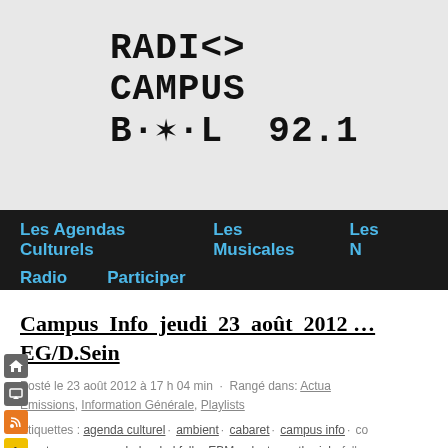[Figure (logo): Radio Campus Brussels 92.1 logo in bold monospace text]
Les Agendas Culturels   Les Musicales   Les [M]   Radio   Participer
Campus Info jeudi 23 août 2012 EG/D.Sein
Posté le 23 août 2012 à 17 h 04 min · Rangé dans: Actua Emissions, Information Générale, Playlists
Étiquettes : agenda culturel · ambient · cabaret · campus info · co country · crooner · dark · darkfolk · EBM · electro · etheriel · folk glam-rock · gothic · neo-folk · new wave · noise · oldies · polyphonie vocale · pop · psyché · rhythmic noise · S/M · So soundscape · synth-pop · techno-coyo · technopop · torch song · y
Oui, j'ai vu passer la vache cosmique. Mais aussi :